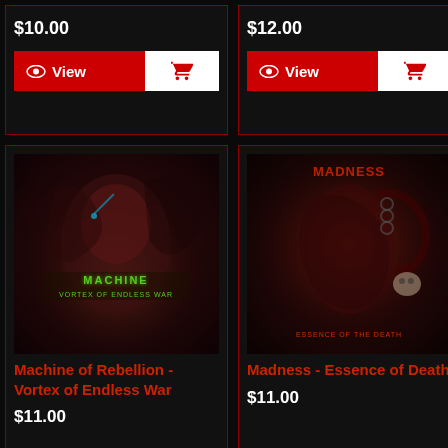$10.00
View
$12.00
View
[Figure (illustration): Album cover for Machine of Rebellion - Vortex of Endless War, dark fantasy/death metal artwork showing a monster creature]
Machine of Rebellion - Vortex of Endless War
$11.00
[Figure (illustration): Album cover for Madness - Essence of Death, dark death metal artwork showing a figure being tortured]
Madness - Essence of Death
$11.00